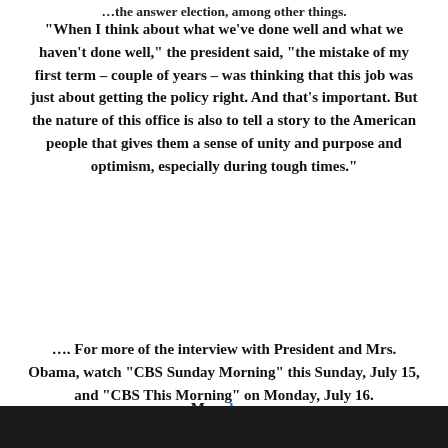…the answer election, among other things.
“When I think about what we’ve done well and what we haven’t done well,” the president said, “the mistake of my first term – couple of years – was thinking that this job was just about getting the policy right. And that’s important. But the nature of this office is also to tell a story to the American people that gives them a sense of unity and purpose and optimism, especially during tough times.”
…. For more of the interview with President and Mrs. Obama, watch “CBS Sunday Morning” this Sunday, July 15, and “CBS This Morning” on Monday, July 16.
More here